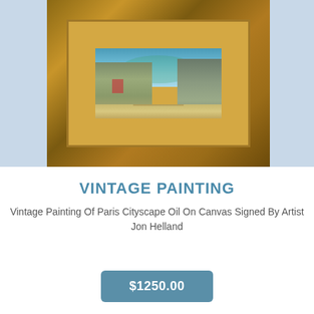[Figure (photo): A framed vintage oil painting of a Paris cityscape, showing buildings on left and right with a blue-green sky, set in an ornate golden-brown wooden frame. The painting is displayed against a light blue-grey background.]
VINTAGE PAINTING
Vintage Painting Of Paris Cityscape Oil On Canvas Signed By Artist Jon Helland
$1250.00